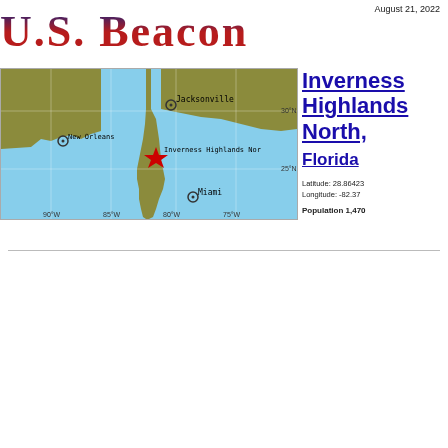August 21, 2022
U.S. Beacon
[Figure (map): Map showing southeastern United States including Gulf Coast, Florida peninsula, with cities Jacksonville, New Orleans, and Miami marked with circles, and Inverness Highlands North marked with a red star. Latitude lines at 30°N and 25°N, longitude lines at 90°W, 85°W, 80°W, 75°W.]
Inverness Highlands North, Florida
Latitude: 28.86423
Longitude: -82.37
Population 1,470